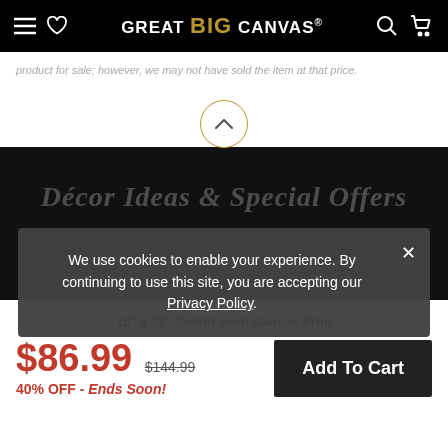GREAT BIG CANVAS
product for sale; however, we may not have sold the item at that price.
[Figure (screenshot): Scroll-up chevron button with gold circle border]
[Figure (screenshot): Dark black background section with faded italic text: Décor Ideas & Special Offers, and an email input field placeholder: Your Email Address]
We use cookies to enable your experience. By continuing to use this site, you are accepting our Privacy Policy.
16" x 20" Solid-Faced Canvas Print
$86.99  $144.99  40% OFF - Ends Soon!  Add To Cart